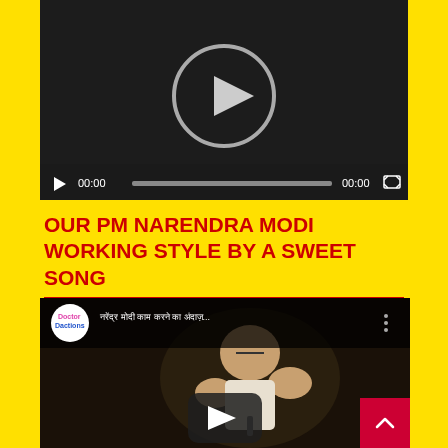[Figure (screenshot): Embedded video player with dark background, large play button circle in center, and control bar at bottom showing play button, 00:00 timecodes, progress bar, and fullscreen icon]
OUR PM NARENDRA MODI WORKING STYLE BY A SWEET SONG
[Figure (screenshot): YouTube video thumbnail showing a man (Narendra Modi) gesturing with hands, with channel logo 'Doctor Dactions', Hindi text title, three-dot menu, and a play button overlay]